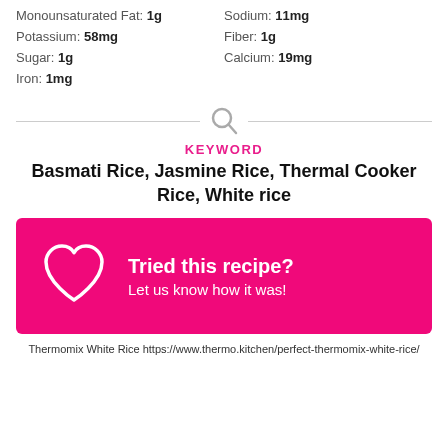Monounsaturated Fat: 1g
Sodium: 11mg
Potassium: 58mg
Fiber: 1g
Sugar: 1g
Calcium: 19mg
Iron: 1mg
[Figure (other): Search magnifying glass icon with horizontal divider lines on each side]
KEYWORD
Basmati Rice, Jasmine Rice, Thermal Cooker Rice, White rice
[Figure (other): Pink/magenta call-to-action banner with white heart outline icon, text 'Tried this recipe? Let us know how it was!']
Thermomix White Rice https://www.thermo.kitchen/perfect-thermomix-white-rice/